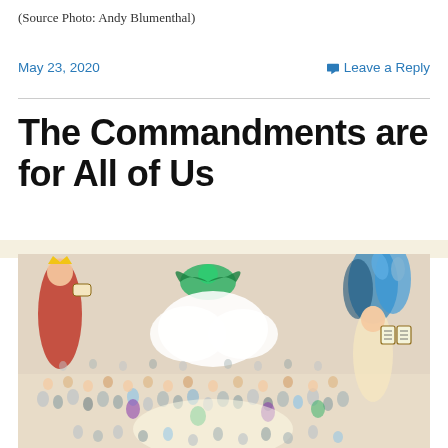(Source Photo: Andy Blumenthal)
May 23, 2020
Leave a Reply
The Commandments are for All of Us
[Figure (illustration): Colorful painting depicting a large crowd of people with biblical figures including a figure in red robe holding a scroll on the left and Moses-like figure with the Ten Commandments tablets on the right, with a large white cloud in the center and blue floral elements on the right side — appears to be a Chagall-style artwork about the giving of the Torah.]